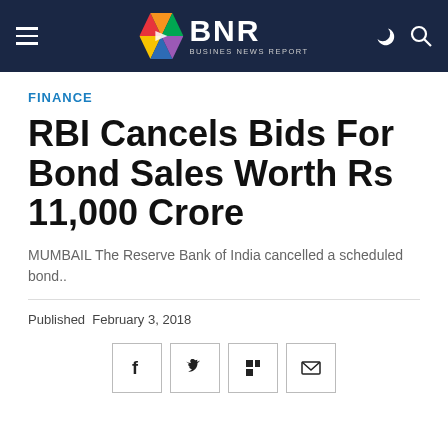BNR BUSINES NEWS REPORT
FINANCE
RBI Cancels Bids For Bond Sales Worth Rs 11,000 Crore
MUMBAIL The Reserve Bank of India cancelled a scheduled bond..
Published  February 3, 2018